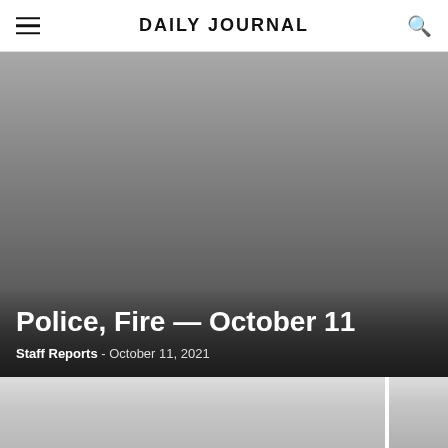DAILY JOURNAL
[Figure (photo): Hero image with dark gradient overlay, gray toned background photo]
Police, Fire — October 11
Staff Reports - October 11, 2021
[Figure (photo): Thumbnail image strip at bottom of page, two panels side by side]